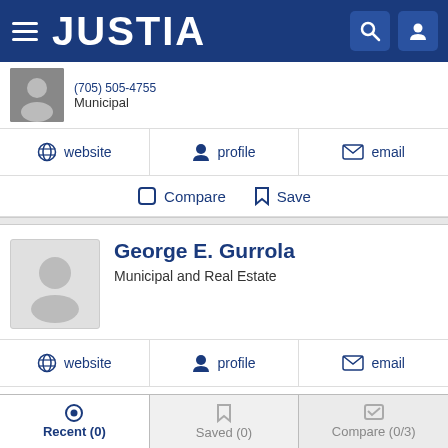[Figure (screenshot): Justia navigation bar with hamburger menu, Justia logo, search and user icons on dark blue background]
Municipal
[Figure (infographic): Action row with website, profile, and email links]
[Figure (infographic): Compare and Save buttons row]
[Figure (photo): Attorney placeholder avatar photo]
George E. Gurrola
Municipal and Real Estate
[Figure (infographic): Action row with website, profile, and email links]
[Figure (infographic): Compare and Save buttons row]
[Figure (infographic): Bottom navigation bar with Recent (0), Saved (0), Compare (0/3) tabs]